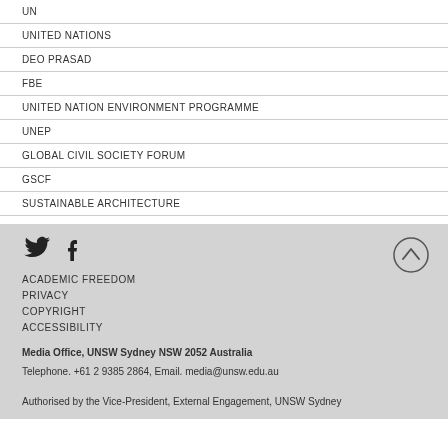UN
UNITED NATIONS
DEO PRASAD
FBE
UNITED NATION ENVIRONMENT PROGRAMME
UNEP
GLOBAL CIVIL SOCIETY FORUM
GSCF
SUSTAINABLE ARCHITECTURE
[Figure (other): Twitter and Facebook social media icons, and an up-arrow circle button]
ACADEMIC FREEDOM
PRIVACY
COPYRIGHT
ACCESSIBILITY
Media Office, UNSW Sydney NSW 2052 Australia
Telephone. +61 2 9385 2864, Email. media@unsw.edu.au
Authorised by the Vice-President, External Engagement, UNSW Sydney